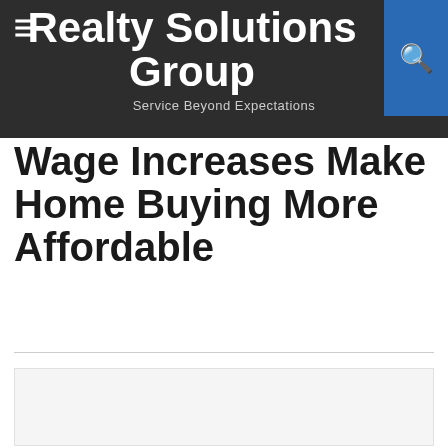Realty Solutions Group
Service Beyond Expectations
Wage Increases Make Home Buying More Affordable
[Figure (photo): Image placeholder / article featured image area]